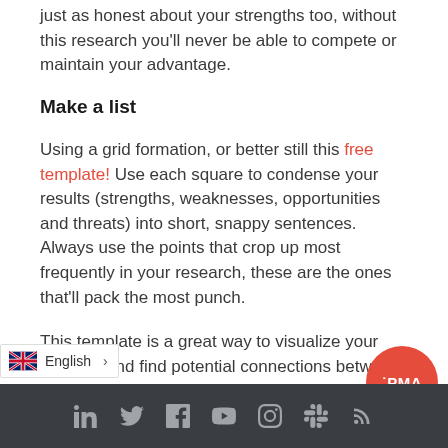just as honest about your strengths too, without this research you'll never be able to compete or maintain your advantage.
Make a list
Using a grid formation, or better still this free template! Use each square to condense your results (strengths, weaknesses, opportunities and threats) into short, snappy sentences. Always use the points that crop up most frequently in your research, these are the ones that'll pack the most punch.
This template is a great way to visualize your success and find potential connections between each squ... ngths be used to eliminate a
English | LinkedIn | Twitter | Facebook | YouTube | Instagram | Slack | RSS | PMA